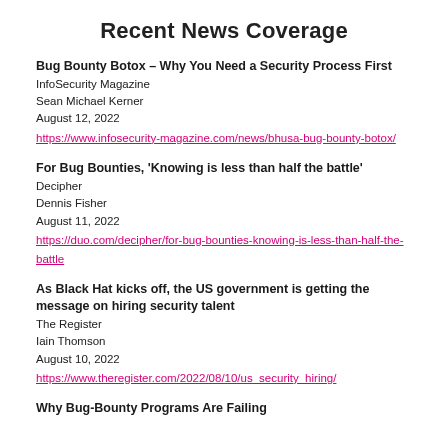Recent News Coverage
Bug Bounty Botox – Why You Need a Security Process First
InfoSecurity Magazine
Sean Michael Kerner
August 12, 2022
https://www.infosecurity-magazine.com/news/bhusa-bug-bounty-botox/
For Bug Bounties, 'Knowing is less than half the battle'
Decipher
Dennis Fisher
August 11, 2022
https://duo.com/decipher/for-bug-bounties-knowing-is-less-than-half-the-battle
As Black Hat kicks off, the US government is getting the message on hiring security talent
The Register
Iain Thomson
August 10, 2022
https://www.theregister.com/2022/08/10/us_security_hiring/
Why Bug-Bounty Programs Are Failing